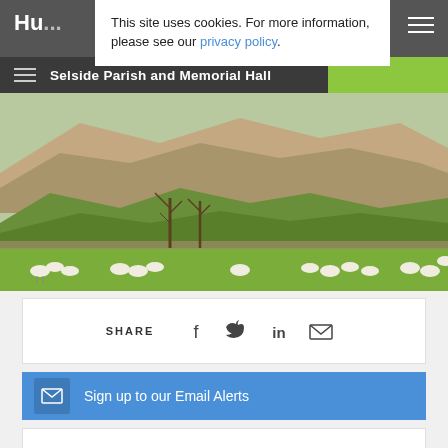Hu...
This site uses cookies. For more information, please see our privacy policy.
Selside Parish and Memorial Hall
[Figure (photo): Aerial countryside landscape with green rolling hills, stone walls, bare trees, and sheep grazing in the foreground under warm sunlight.]
SHARE
Sign up to our Email Alerts